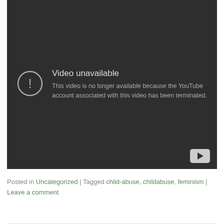[Figure (screenshot): YouTube embedded video player showing 'Video unavailable' error screen with dark background. Text reads: 'Video unavailable. This video is no longer available because the YouTube account associated with this video has been terminated.' YouTube logo button visible in bottom-right corner.]
Posted in Uncategorized | Tagged child-abuse, childabuse, feminism | Leave a comment